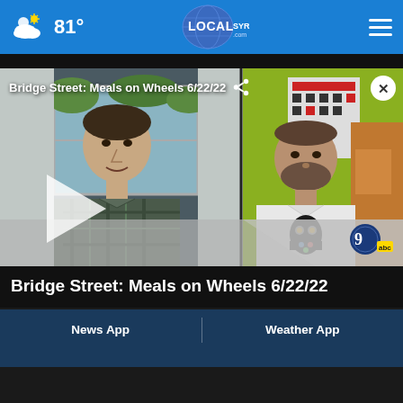81° LOCALsyr.com
[Figure (screenshot): Video player showing Bridge Street: Meals on Wheels 6/22/22. Two men visible — left man in plaid shirt, right man in white t-shirt. Play button overlay. Channel 9 ABC logo in bottom right. Close (X) button top right. Share icon next to title.]
Bridge Street: Meals on Wheels 6/22/22
News App   Weather App